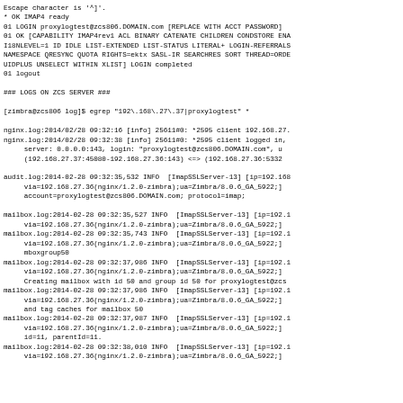Escape character is '^]'.
* OK IMAP4 ready
01 LOGIN proxylogtest@zcs806.DOMAIN.com [REPLACE WITH ACCT PASSWORD]
01 OK [CAPABILITY IMAP4rev1 ACL BINARY CATENATE CHILDREN CONDSTORE ENA
I18NLEVEL=1 ID IDLE LIST-EXTENDED LIST-STATUS LITERAL+ LOGIN-REFERRALS
NAMESPACE QRESYNC QUOTA RIGHTS=ektx SASL-IR SEARCHRES SORT THREAD=ORDE
UIDPLUS UNSELECT WITHIN XLIST] LOGIN completed
01 logout

### LOGS ON ZCS SERVER ###

[zimbra@zcs806 log]$ egrep "192\.168\.27\.37|proxylogtest" *

nginx.log:2014/02/28 09:32:16 [info] 25611#0: *2595 client 192.168.27.
nginx.log:2014/02/28 09:32:38 [info] 25611#0: *2595 client logged in,
     server: 0.0.0.0:143, login: "proxylogtest@zcs806.DOMAIN.com", u
     (192.168.27.37:45080-192.168.27.36:143) <=> (192.168.27.36:5332

audit.log:2014-02-28 09:32:35,532 INFO  [ImapSSLServer-13] [ip=192.168
     via=192.168.27.36(nginx/1.2.0-zimbra);ua=Zimbra/8.0.6_GA_5922;]
     account=proxylogtest@zcs806.DOMAIN.com; protocol=imap;

mailbox.log:2014-02-28 09:32:35,527 INFO  [ImapSSLServer-13] [ip=192.1
     via=192.168.27.36(nginx/1.2.0-zimbra);ua=Zimbra/8.0.6_GA_5922;]
mailbox.log:2014-02-28 09:32:35,743 INFO  [ImapSSLServer-13] [ip=192.1
     via=192.168.27.36(nginx/1.2.0-zimbra);ua=Zimbra/8.0.6_GA_5922;]
     mboxgroup50
mailbox.log:2014-02-28 09:32:37,986 INFO  [ImapSSLServer-13] [ip=192.1
     via=192.168.27.36(nginx/1.2.0-zimbra);ua=Zimbra/8.0.6_GA_5922;]
     Creating mailbox with id 50 and group id 50 for proxylogtest@zcs
mailbox.log:2014-02-28 09:32:37,986 INFO  [ImapSSLServer-13] [ip=192.1
     via=192.168.27.36(nginx/1.2.0-zimbra);ua=Zimbra/8.0.6_GA_5922;]
     and tag caches for mailbox 50
mailbox.log:2014-02-28 09:32:37,987 INFO  [ImapSSLServer-13] [ip=192.1
     via=192.168.27.36(nginx/1.2.0-zimbra);ua=Zimbra/8.0.6_GA_5922;]
     id=11, parentId=11.
mailbox.log:2014-02-28 09:32:38,010 INFO  [ImapSSLServer-13] [ip=192.1
     via=192.168.27.36(nginx/1.2.0-zimbra);ua=Zimbra/8.0.6_GA_5922;]